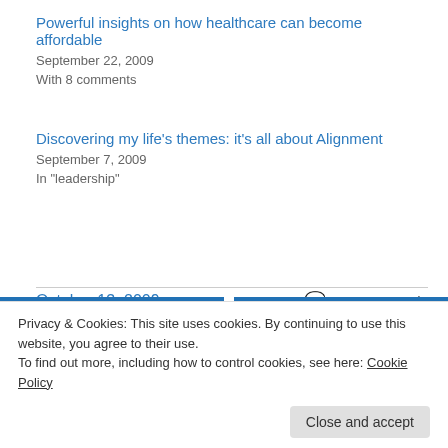Powerful insights on how healthcare can become affordable
September 22, 2009
With 8 comments
Discovering my life's themes: it's all about Alignment
September 7, 2009
In "leadership"
October 13, 2009      Leave a Reply
Previous   Next
Privacy & Cookies: This site uses cookies. By continuing to use this website, you agree to their use. To find out more, including how to control cookies, see here: Cookie Policy
Close and accept
are marked "